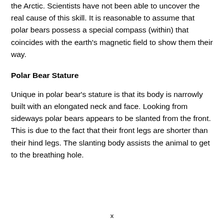the Arctic. Scientists have not been able to uncover the real cause of this skill. It is reasonable to assume that polar bears possess a special compass (within) that coincides with the earth's magnetic field to show them their way.
Polar Bear Stature
Unique in polar bear's stature is that its body is narrowly built with an elongated neck and face. Looking from sideways polar bears appears to be slanted from the front. This is due to the fact that their front legs are shorter than their hind legs. The slanting body assists the animal to get to the breathing hole.
x